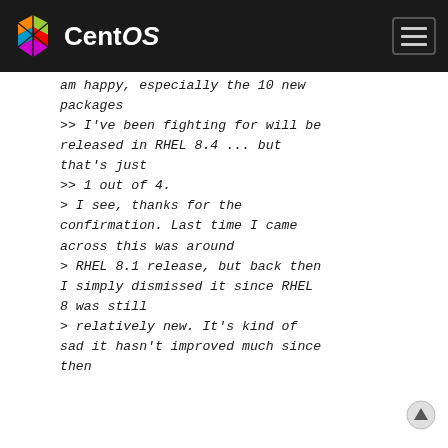CentOS
am happy, especially the 10 new packages
>> I've been fighting for will be released in RHEL 8.4 ... but that's just
>> 1 out of 4.
> I see, thanks for the confirmation. Last time I came across this was around
> RHEL 8.1 release, but back then I simply dismissed it since RHEL 8 was still
> relatively new. It's kind of sad it hasn't improved much since then.